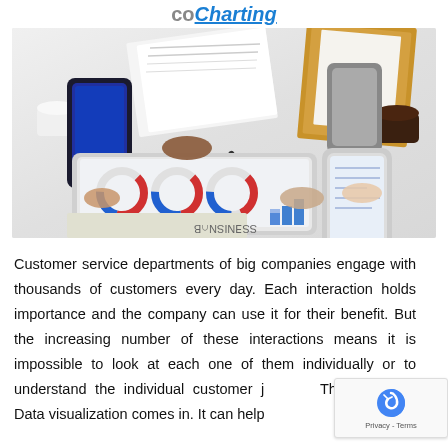coCharting
[Figure (photo): Overhead view of a business meeting table with people holding smartphones, tablets showing charts and graphs, coffee cups, papers, and a clipboard. Business analytics context.]
Customer service departments of big companies engage with thousands of customers every day. Each interaction holds importance and the company can use it for their benefit. But the increasing number of these interactions means it is impossible to look at each one of them individually or to understand the individual customer j... That is where Data visualization comes in. It can help